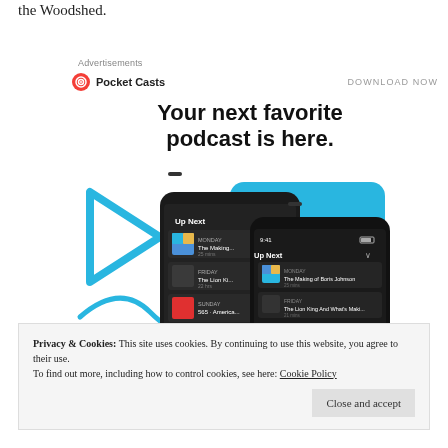the Woodshed.
Advertisements
[Figure (screenshot): Pocket Casts advertisement with logo, 'DOWNLOAD NOW' link, and bold headline 'Your next favorite podcast is here.' with smartphone app screenshots showing 'Up Next' podcast queue interface with dark UI.]
Privacy & Cookies: This site uses cookies. By continuing to use this website, you agree to their use. To find out more, including how to control cookies, see here: Cookie Policy